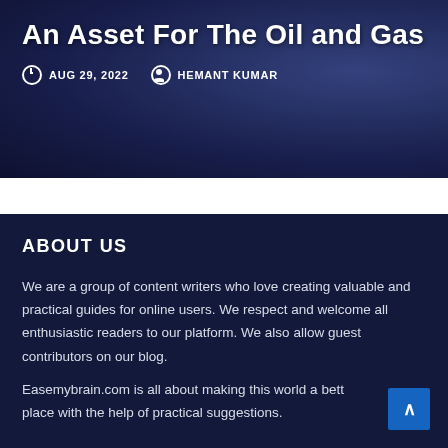An Asset For The Oil and Gas
AUG 29, 2022   HEMANT KUMAR
ABOUT US
We are a group of content writers who love creating valuable and practical guides for online users. We respect and welcome all enthusiastic readers to our platform. We also allow guest contributors on our blog.
Easemybrain.com is all about making this world a better place with the help of practical suggestions.